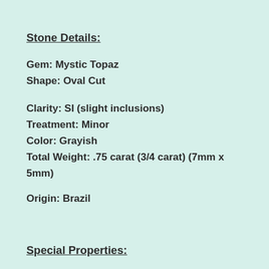Stone Details:
Gem: Mystic Topaz
Shape: Oval Cut
Clarity: SI (slight inclusions)
Treatment: Minor
Color: Grayish
Total Weight: .75 carat (3/4 carat) (7mm x 5mm)
Origin:  Brazil
Special Properties:
Topaz soothes, heals, stimulates, re-vitalizes, re-motivates